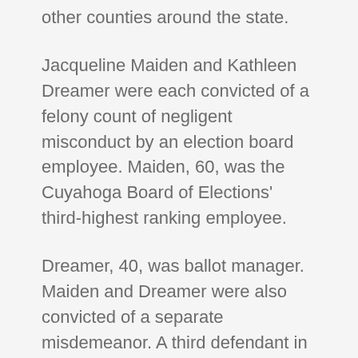other counties around the state.
Jacqueline Maiden and Kathleen Dreamer were each convicted of a felony count of negligent misconduct by an election board employee. Maiden, 60, was the Cuyahoga Board of Elections' third-highest ranking employee.
Dreamer, 40, was ballot manager. Maiden and Dreamer were also convicted of a separate misdemeanor. A third defendant in the case was acquitted of all charges.
The Free Press has unearthed evidence indicating possible criminal misconduct by a wide range of election officials throughout the state, including Blackwell. Under the law,